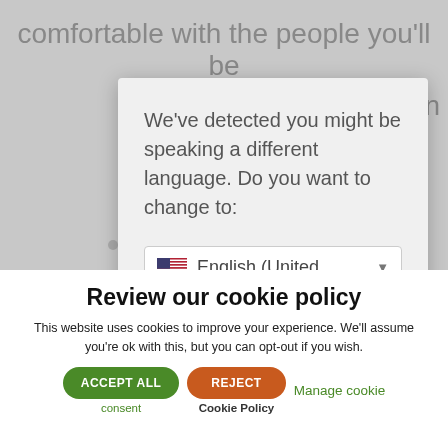comfortable with the people you'll be
[Figure (screenshot): Language detection modal popup with text 'We've detected you might be speaking a different language. Do you want to change to:' and a dropdown showing 'English (United' with a US flag and dropdown arrow.]
Review our cookie policy
This website uses cookies to improve your experience. We'll assume you're ok with this, but you can opt-out if you wish.
ACCEPT ALL  REJECT  Manage cookie  consent  Cookie Policy